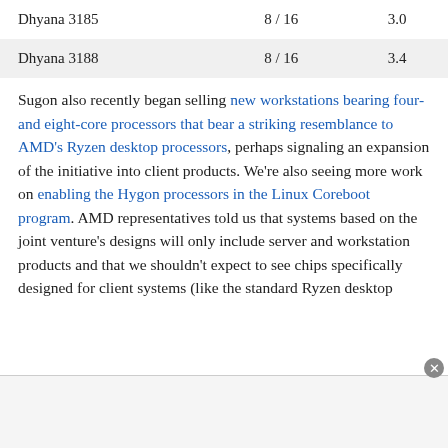| Dhyana 3185 | 8 / 16 | 3.0 |
| Dhyana 3188 | 8 / 16 | 3.4 |
Sugon also recently began selling new workstations bearing four- and eight-core processors that bear a striking resemblance to AMD's Ryzen desktop processors, perhaps signaling an expansion of the initiative into client products. We're also seeing more work on enabling the Hygon processors in the Linux Coreboot program. AMD representatives told us that systems based on the joint venture's designs will only include server and workstation products and that we shouldn't expect to see chips specifically designed for client systems (like the standard Ryzen desktop